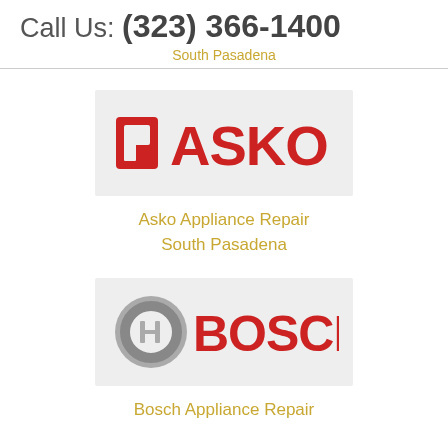Call Us: (323) 366-1400
South Pasadena
[Figure (logo): ASKO appliance brand logo on light gray background]
Asko Appliance Repair
South Pasadena
[Figure (logo): Bosch appliance brand logo with circular emblem on light gray background]
Bosch Appliance Repair